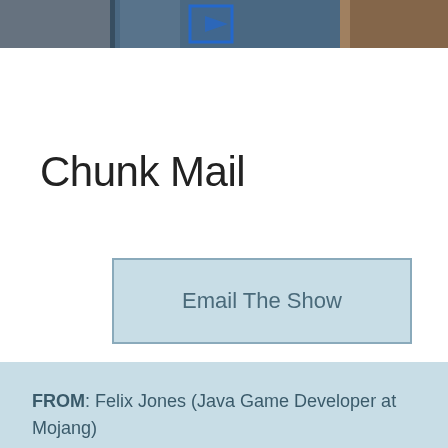[Figure (photo): Cropped photo strip at the top of the page showing people and a blue highlighted element, partially visible]
Chunk Mail
Email The Show
FROM: Felix Jones (Java Game Developer at Mojang)
SUBJECT: VR Thoughts (In reply to The Spawn Chunks 108 )